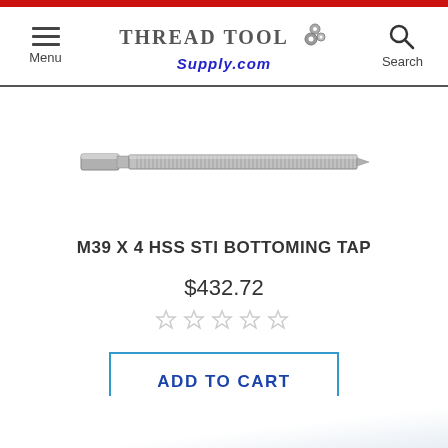Menu | Thread Tool Supply.com | Search
[Figure (photo): A metal M39 x 4 HSS STI bottoming tap tool shown horizontally against a white background]
M39 X 4 HSS STI BOTTOMING TAP
$432.72
[Figure (other): Five empty/outline star rating icons]
ADD TO CART